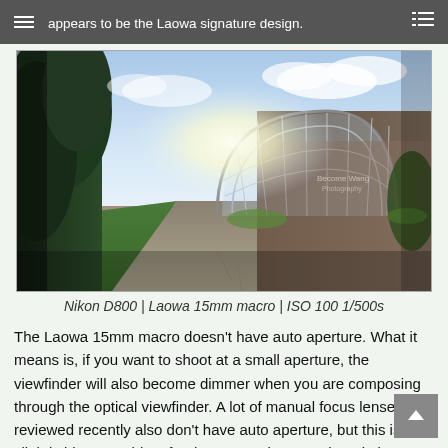appears to be the Laowa signature design.
[Figure (photo): Wide-angle photo of a park path leading to a large glass and brick greenhouse/conservatory building, taken with a Nikon D800 and Laowa 15mm macro lens. Trees on the left, bright sky with clouds, sunlight flaring through the building's arched glass facade.]
Nikon D800 | Laowa 15mm macro | ISO 100 1/500s
The Laowa 15mm macro doesn't have auto aperture. What it means is, if you want to shoot at a small aperture, the viewfinder will also become dimmer when you are composing through the optical viewfinder. A lot of manual focus lenses I reviewed recently also don't have auto aperture, but this is a slightly bigger problem for the Laowa than say the Mitakon 85mm f/1.2 as when you are